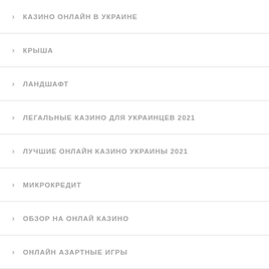КАЗИНО ОНЛАЙН В УКРАИНЕ
КРЫША
ЛАНДШАФТ
ЛЕГАЛЬНЫЕ КАЗИНО ДЛЯ УКРАИНЦЕВ 2021
ЛУЧШИЕ ОНЛАЙН КАЗИНО УКРАИНЫ 2021
МИКРОКРЕДИТ
ОБЗОР НА ОНЛАЙ КАЗИНО
ОНЛАЙН АЗАРТНЫЕ ИГРЫ
ОНЛАЙН КАЗИНО
ОНЛАЙН КАЗИНО В УКРАИНЕ